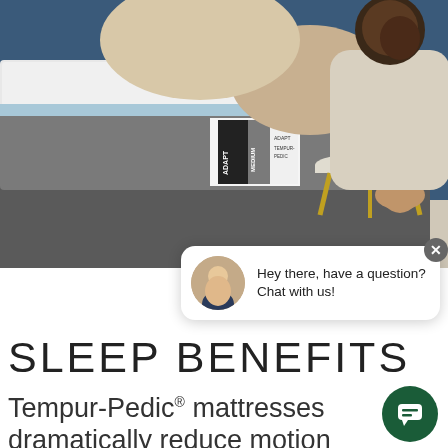[Figure (photo): Person sitting on a Tempur-Pedic ADAPT MEDIUM mattress in a bedroom setting with a clock and nightstand visible in background]
Hey there, have a question? Chat with us!
SLEEP BENEFITS
Tempur-Pedic® mattresses dramatically reduce motion